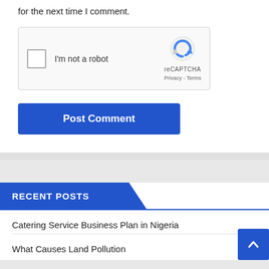for the next time I comment.
[Figure (other): reCAPTCHA widget with checkbox labeled 'I'm not a robot', Google reCAPTCHA logo, Privacy and Terms links]
[Figure (other): Blue 'Post Comment' button]
RECENT POSTS
Catering Service Business Plan in Nigeria
What Causes Land Pollution